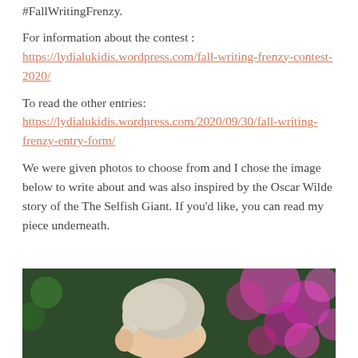#FallWritingFrenzy.
For information about the contest : https://lydialukidis.wordpress.com/fall-writing-frenzy-contest-2020/
To read the other entries: https://lydialukidis.wordpress.com/2020/09/30/fall-writing-frenzy-entry-form/
We were given photos to choose from and I chose the image below to write about and was also inspired by the Oscar Wilde story of the The Selfish Giant. If you'd like, you can read my piece underneath.
[Figure (photo): A photo of a child with light hair surrounded by colorful bokeh lights in pinks and purples with green foliage in the background.]